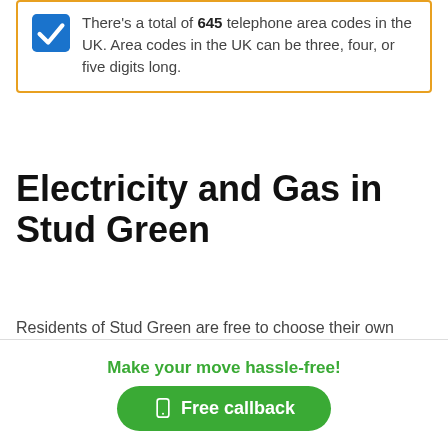There's a total of 645 telephone area codes in the UK. Area codes in the UK can be three, four, or five digits long.
Electricity and Gas in Stud Green
Residents of Stud Green are free to choose their own supplier for gas and electricity, but whichever supplier they are with, the electricity and gas will always be maintained and supplied by the network operator for the region.
Make your move hassle-free!
Free callback